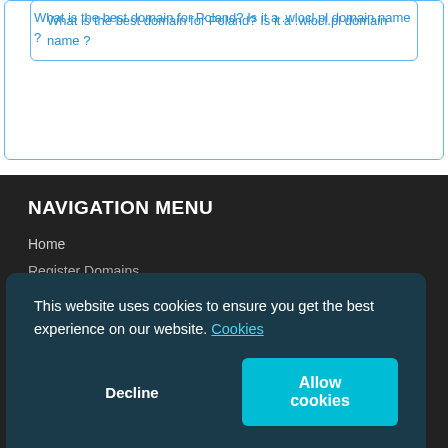What is the best domain for Poland? Is it a .wlocl.pl domain name ?
NAVIGATION MENU
Home
Register Domains
The Domain List
International Domains
This website uses cookies to ensure you get the best experience on our website. Cookies
Decline
Allow cookies